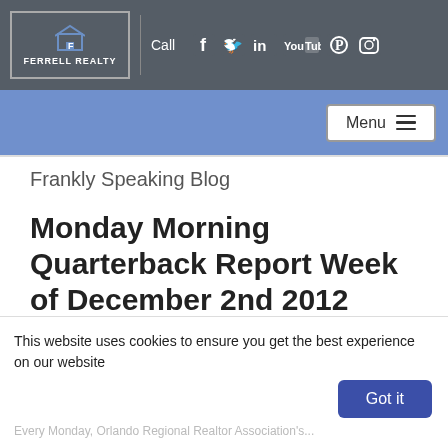FERRELL REALTY — Call — Social icons (Facebook, Twitter, LinkedIn, YouTube, Pinterest, Instagram) — Menu
Frankly Speaking Blog
Monday Morning Quarterback Report Week of December 2nd 2012
This website uses cookies to ensure you get the best experience on our website
Every Monday, Orlando Regional Realtor Association's...